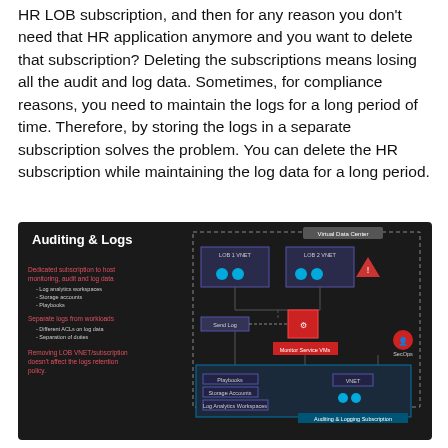HR LOB subscription, and then for any reason you don't need that HR application anymore and you want to delete that subscription? Deleting the subscriptions means losing all the audit and log data. Sometimes, for compliance reasons, you need to maintain the logs for a long period of time. Therefore, by storing the logs in a separate subscription solves the problem. You can delete the HR subscription while maintaining the log data for a long period.
[Figure (infographic): Dark-themed diagram titled 'Auditing & Logs' showing a Virtual Data Center with LOB 1 VNET and LOB 2 VNET boxes connected to a Send Log component, a Monitor Service VMs box, and a SecOps icon. Below is an Auditing & Logging Subscription containing Playbooks, Storage Accounts, and Log Analytics Workspaces. Left panel lists: Dedicated subscription to host monitoring, audit and log data (Log analytics workspaces, Storage accounts, Playbooks), Separate logs from workloads (Different ACLs on log data, Separation of duties), Removing LOB VNET/subscription doesn't affect the logs retention policy.]